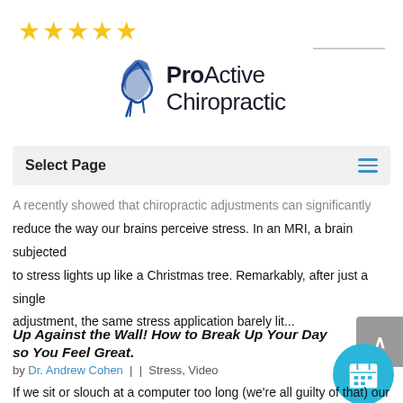[Figure (logo): Five gold stars rating and ProActive Chiropractic logo with blue bird/figure icon]
Select Page
A recently showed that chiropractic adjustments can significantly reduce the way our brains perceive stress. In an MRI, a brain subjected to stress lights up like a Christmas tree. Remarkably, after just a single adjustment, the same stress application barely lit...
Up Against the Wall! How to Break Up Your Day so You Feel Great.
by Dr. Andrew Cohen | | Stress, Video
If we sit or slouch at a computer too long (we're all guilty of that) our body starts to consider that slouched position as normal. It's not. This